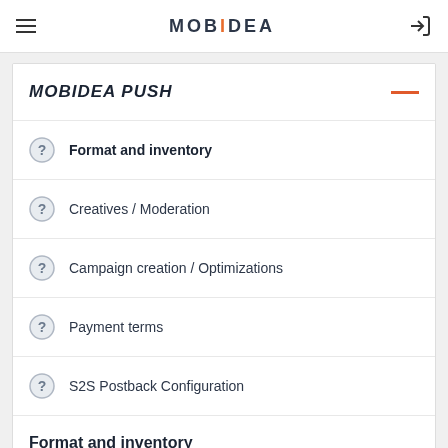MOBIDEA
MOBIDEA PUSH
Format and inventory
Creatives / Moderation
Campaign creation / Optimizations
Payment terms
S2S Postback Configuration
Format and inventory